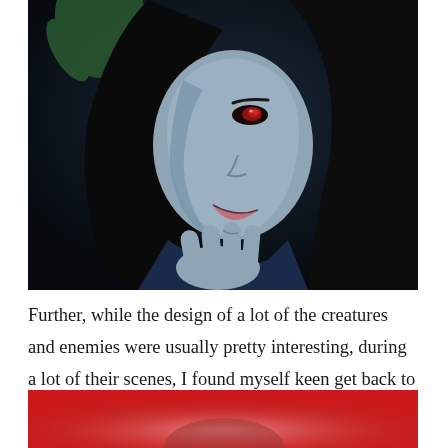[Figure (illustration): Anime screenshot of a dark-haired villain character with red eyes and grey skin, smiling and holding fingers to chin, against a dark background with green foliage]
Further, while the design of a lot of the creatures and enemies were usually pretty interesting, during a lot of their scenes, I found myself keen get back to the main quest.
[Figure (illustration): Anime screenshot showing a character against a bright red background, partially visible at bottom of page]